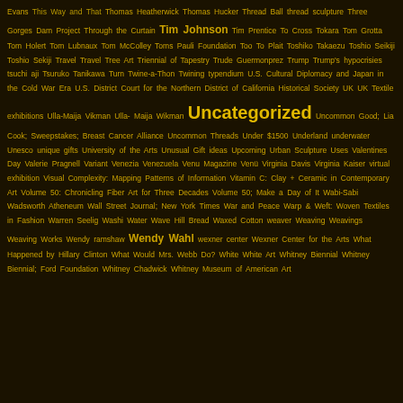Evans This Way and That Thomas Heatherwick Thomas Hucker Thread Ball thread sculpture Three Gorges Dam Project Through the Curtain Tim Johnson Tim Prentice To Cross Tokara Tom Grotta Tom Holert Tom Lubnaux Tom McColley Toms Pauli Foundation Too To Plait Toshiko Takaezu Toshio Seikiji Toshio Sekiji Travel Travel Tree Art Triennial of Tapestry Trude Guermonprez Trump Trump's hypocrisies tsuchi aji Tsuruko Tanikawa Turn Twine-a-Thon Twining typendium U.S. Cultural Diplomacy and Japan in the Cold War Era U.S. District Court for the Northern District of California Historical Society UK UK Textile exhibitions Ulla-Maija Vikman Ulla-Maija Wikman Uncategorized Uncommon Good; Lia Cook; Sweepstakes; Breast Cancer Alliance Uncommon Threads Under $1500 Underland underwater Unesco unique gifts University of the Arts Unusual Gift ideas Upcoming Urban Sculpture Uses Valentines Day Valerie Pragnell Variant Venezia Venezuela Venu Magazine Venü Virginia Davis Virginia Kaiser virtual exhibition Visual Complexity: Mapping Patterns of Information Vitamin C: Clay + Ceramic in Contemporary Art Volume 50: Chronicling Fiber Art for Three Decades Volume 50; Make a Day of It Wabi-Sabi Wadsworth Atheneum Wall Street Journal; New York Times War and Peace Warp & Weft: Woven Textiles in Fashion Warren Seelig Washi Water Wave Hill Bread Waxed Cotton weaver Weaving Weavings Weaving Works Wendy ramshaw Wendy Wahl wexner center Wexner Center for the Arts What Happened by Hillary Clinton What Would Mrs. Webb Do? White White Art Whitney Biennial Whitney Biennial; Ford Foundation Whitney Chadwick Whitney Museum of American Art